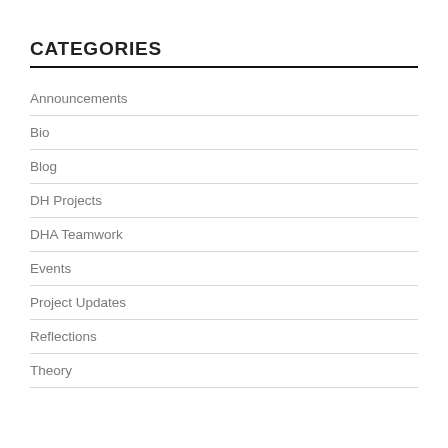CATEGORIES
Announcements
Bio
Blog
DH Projects
DHA Teamwork
Events
Project Updates
Reflections
Theory